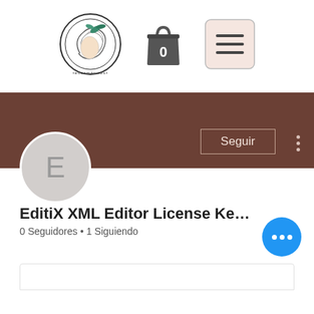[Figure (logo): ecosméticos circular logo with woman face and leaves]
[Figure (illustration): Shopping bag icon with number 0]
[Figure (illustration): Hamburger menu button with pink/beige background]
[Figure (illustration): Dark brown cover banner with Seguir button and vertical dots menu]
[Figure (illustration): Gray circle avatar with letter E]
EditiX XML Editor License Ke…
0 Seguidores • 1 Siguiendo
[Figure (illustration): Blue chat button with three white dots]